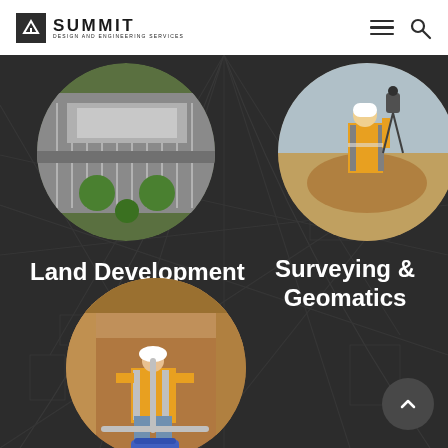[Figure (logo): Summit Design and Engineering Services logo with upward arrow icon]
[Figure (photo): Aerial view of a large parking lot and commercial building complex, circular crop]
[Figure (photo): Surveyor wearing safety vest and hard hat using surveying equipment at a construction site, circular crop]
Land Development
Surveying &
Geomatics
[Figure (photo): Worker in hard hat and safety vest crouching in an excavated area doing geotechnical work, circular crop]